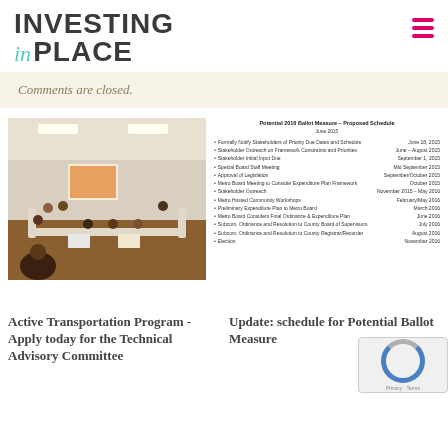INVESTING in PLACE
Comments are closed.
[Figure (photo): Meeting room with people seated around tables in a U-shape, with a presentation screen visible at the front.]
[Figure (other): Potential 2016 Ballot Measure – Proposed Schedule, June 2015. Lists stakeholder outreach, board meetings, and election milestones from June 2015 to November 2016.]
Active Transportation Program - Apply today for the Technical Advisory Committee
Update: schedule for Potential Ballot Measure